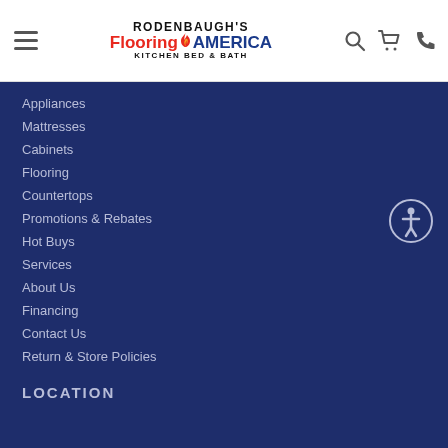[Figure (logo): Rodenbaugh's Flooring America Kitchen Bed & Bath logo with hamburger menu, search, cart, and phone icons]
Appliances
Mattresses
Cabinets
Flooring
Countertops
Promotions & Rebates
Hot Buys
Services
About Us
Financing
Contact Us
Return & Store Policies
LOCATION